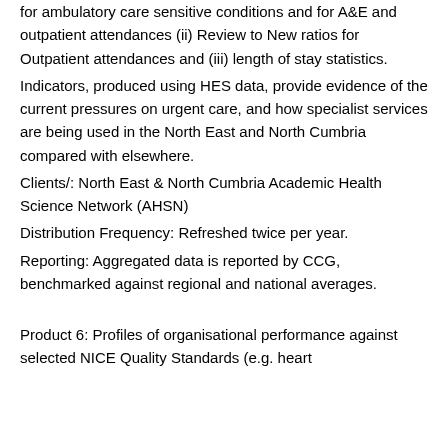for ambulatory care sensitive conditions and for A&E and outpatient attendances (ii) Review to New ratios for Outpatient attendances and (iii) length of stay statistics.
Indicators, produced using HES data, provide evidence of the current pressures on urgent care, and how specialist services are being used in the North East and North Cumbria compared with elsewhere.
Clients/: North East & North Cumbria Academic Health Science Network (AHSN)
Distribution Frequency: Refreshed twice per year.
Reporting: Aggregated data is reported by CCG, benchmarked against regional and national averages.
Product 6: Profiles of organisational performance against selected NICE Quality Standards (e.g. heart